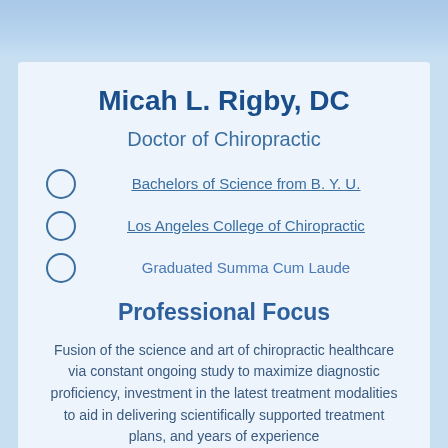Micah L. Rigby, DC
Doctor of Chiropractic
Bachelors of Science from B. Y. U.
Los Angeles College of Chiropractic
Graduated Summa Cum Laude
Professional Focus
Fusion of the science and art of chiropractic healthcare via constant ongoing study to maximize diagnostic proficiency, investment in the latest treatment modalities to aid in delivering scientifically supported treatment plans, and years of experience